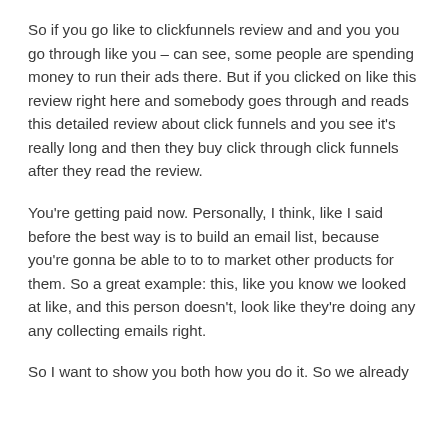So if you go like to clickfunnels review and and you you go through like you – can see, some people are spending money to run their ads there. But if you clicked on like this review right here and somebody goes through and reads this detailed review about click funnels and you see it's really long and then they buy click through click funnels after they read the review.
You're getting paid now. Personally, I think, like I said before the best way is to build an email list, because you're gonna be able to to to market other products for them. So a great example: this, like you know we looked at like, and this person doesn't, look like they're doing any any collecting emails right.
So I want to show you both how you do it. So we already